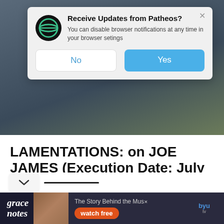[Figure (screenshot): Browser push notification dialog from Patheos website with logo, title, body text, and No/Yes buttons]
LAMENTATIONS: on JOE JAMES (Execution Date: July 28)
JULY 26, 2022 BY JEFF HOOD
1 COMMENT
[Figure (infographic): Advertisement banner for Grace Notes - The Story Behind the Music, watch free on BYU tv]